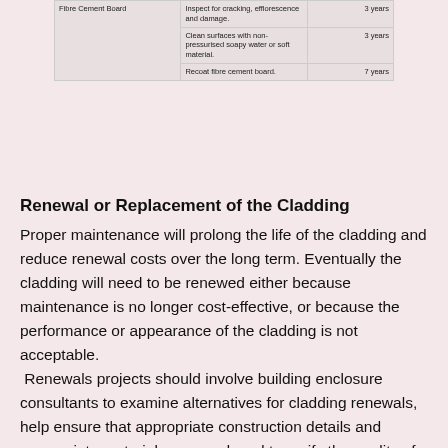| Fibre Cement Board | Action | Frequency |
| --- | --- | --- |
| Fibre Cement Board | Inspect for cracking, efflorescence and damage. | 3 years |
|  | Clean surfaces with non-pressurised soapy water or soft material. | 3 years |
|  | Recoat fibre cement board. | 7 years |
Renewal or Replacement of the Cladding
Proper maintenance will prolong the life of the cladding and reduce renewal costs over the long term. Eventually the cladding will need to be renewed either because maintenance is no longer cost-effective, or because the performance or appearance of the cladding is not acceptable.
 Renewals projects should involve building enclosure consultants to examine alternatives for cladding renewals, help ensure that appropriate construction details and appropriate materials are used, and to verify the quality of the construction. Enclosure consultants can also assist in the selection of qualified contractors to perform the renewal work.